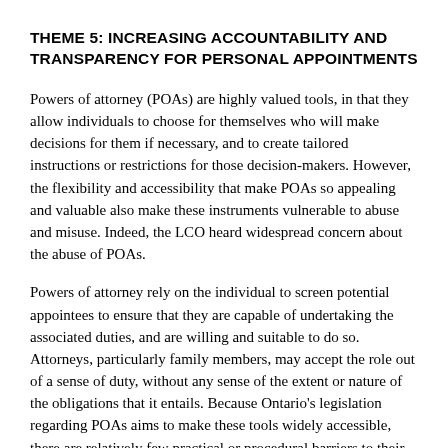THEME 5: INCREASING ACCOUNTABILITY AND TRANSPARENCY FOR PERSONAL APPOINTMENTS
Powers of attorney (POAs) are highly valued tools, in that they allow individuals to choose for themselves who will make decisions for them if necessary, and to create tailored instructions or restrictions for those decision-makers. However, the flexibility and accessibility that make POAs so appealing and valuable also make these instruments vulnerable to abuse and misuse. Indeed, the LCO heard widespread concern about the abuse of POAs.
Powers of attorney rely on the individual to screen potential appointees to ensure that they are capable of undertaking the associated duties, and are willing and suitable to do so. Attorneys, particularly family members, may accept the role out of a sense of duty, without any sense of the extent or nature of the obligations that it entails. Because Ontario's legislation regarding POAs aims to make these tools widely accessible, there are relatively few practical or procedural barriers to their creation. The resultant risk is that those creating POAs may not fully understand the potential implications of doing so, and may put themselves at risk of abuse, neglect or exploitation by their attorneys. As well, as